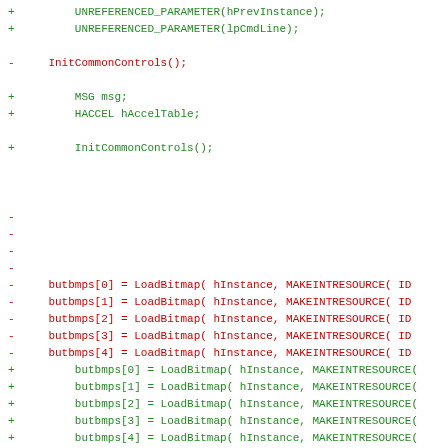[Figure (screenshot): Code diff view showing changes to a C/C++ source file. Lines with '+' are additions (green), lines with '-' are removals (red), and context lines are grey. The diff includes UNREFERENCED_PARAMETER calls, InitCommonControls, MSG/HACCEL declarations, and LoadBitmap calls for butbmps and butbmps_dis arrays.]